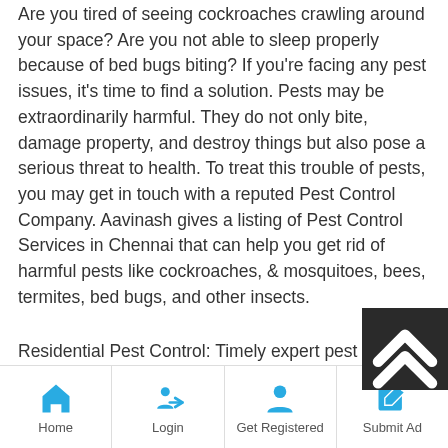Are you tired of seeing cockroaches crawling around your space? Are you not able to sleep properly because of bed bugs biting? If you're facing any pest issues, it's time to find a solution. Pests may be extraordinarily harmful. They do not only bite, damage property, and destroy things but also pose a serious threat to health. To treat this trouble of pests, you may get in touch with a reputed Pest Control Company. Aavinash gives a listing of Pest Control Services in Chennai that can help you get rid of harmful pests like cockroaches, & mosquitoes, bees, termites, bed bugs, and other insects.
Residential Pest Control: Timely expert pest control services help to eliminate and get rid of various pests including termites, cockroaches, ants, lizards, and more. With the proper strategies and products, you could avail powerful and efficient services for a pest-
Home | Login | Get Registered | Submit Ad